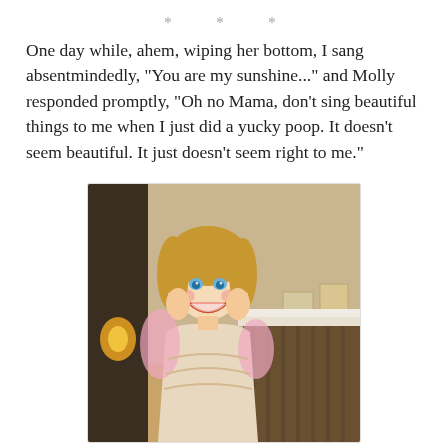* * *
One day while, ahem, wiping her bottom, I sang absentmindedly, "You are my sunshine..." and Molly responded promptly, "Oh no Mama, don't sing beautiful things to me when I just did a yucky poop. It doesn't seem beautiful. It just doesn't seem right to me."
[Figure (photo): A young blonde girl in a fairy/princess costume smiling widely with both hands pressed to her cheeks, standing in a home interior with a fireplace mantel in the background.]